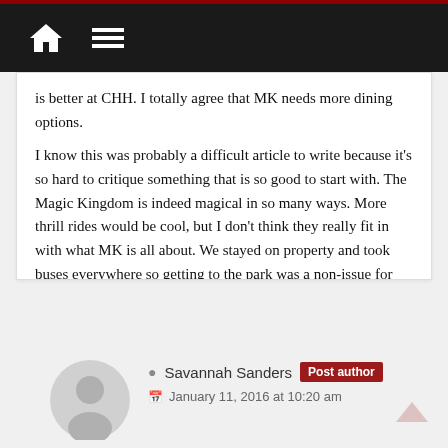Navigation bar with home and menu icons
is better at CHH. I totally agree that MK needs more dining options.

I know this was probably a difficult article to write because it's so hard to critique something that is so good to start with. The Magic Kingdom is indeed magical in so many ways. More thrill rides would be cool, but I don't think they really fit in with what MK is all about. We stayed on property and took buses everywhere so getting to the park was a non-issue for us. Thanks for writing this…it was fun and I look forward to your articles on the other parks.
Reply
Savannah Sanders Post author
January 11, 2016 at 10:20 am